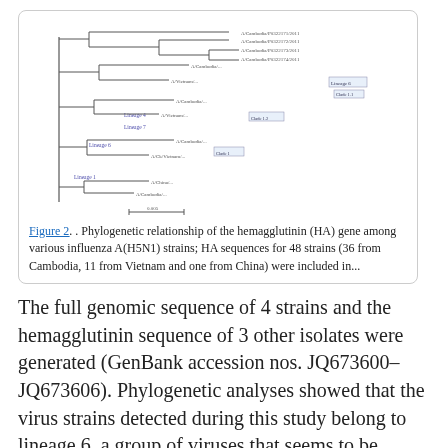[Figure (other): Phylogenetic tree diagram showing relationships of hemagglutinin (HA) gene among various influenza A(H5N1) strains, with branching tree structure and labeled lineages]
Figure 2. . Phylogenetic relationship of the hemagglutinin (HA) gene among various influenza A(H5N1) strains; HA sequences for 48 strains (36 from Cambodia, 11 from Vietnam and one from China) were included in...
The full genomic sequence of 4 strains and the hemagglutinin sequence of 3 other isolates were generated (GenBank accession nos. JQ673600–JQ673606). Phylogenetic analyses showed that the virus strains detected during this study belong to lineage 6, a group of viruses that seems to be endemic to Cambodia (14) (Figure 2), and not to lineage 5, a more regional group of viruses that was